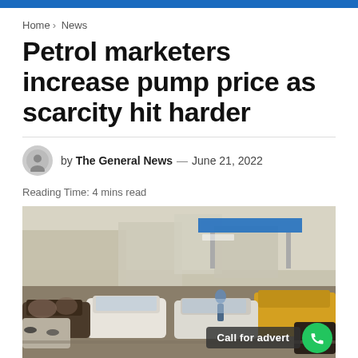Home > News
Petrol marketers increase pump price as scarcity hit harder
by The General News — June 21, 2022
Reading Time: 4 mins read
[Figure (photo): A crowded petrol station with many cars queued up waiting to be served, with a petrol station canopy visible in the background. A 'Call for advert' banner overlaid at the bottom right.]